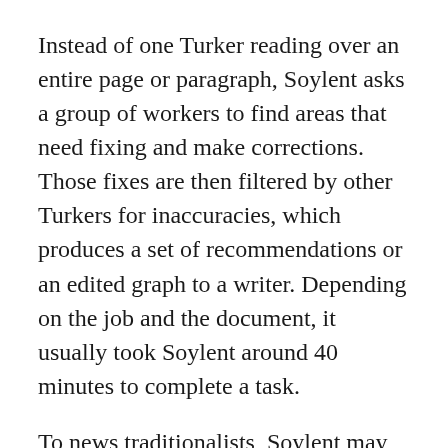Instead of one Turker reading over an entire page or paragraph, Soylent asks a group of workers to find areas that need fixing and make corrections. Those fixes are then filtered by other Turkers for inaccuracies, which produces a set of recommendations or an edited graph to a writer. Depending on the job and the document, it usually took Soylent around 40 minutes to complete a task.
To news traditionalists, Soylent may sound like the latest turn toward outsourcing in journalism that has sent copy editing jobs to places in India. It could also be akin to the automated journalism being tested by some companies or the Huffington Post's real-time